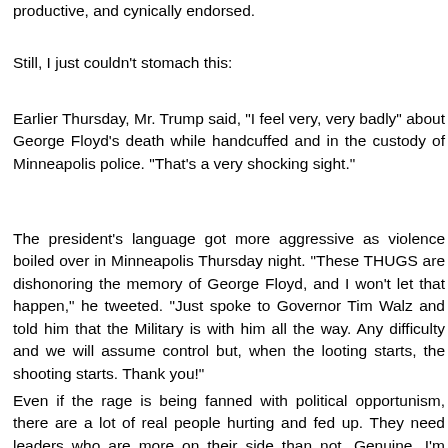productive, and cynically endorsed.
Still, I just couldn't stomach this:
Earlier Thursday, Mr. Trump said, "I feel very, very badly" about George Floyd's death while handcuffed and in the custody of Minneapolis police. "That's a very shocking sight."
The president's language got more aggressive as violence boiled over in Minneapolis Thursday night. "These THUGS are dishonoring the memory of George Floyd, and I won't let that happen," he tweeted. "Just spoke to Governor Tim Walz and told him that the Military is with him all the way. Any difficulty and we will assume control but, when the looting starts, the shooting starts. Thank you!"
Even if the rage is being fanned with political opportunism, there are a lot of real people hurting and fed up. They need leaders who are more on their side than not. Genuine. I'm exhausted with the President that attacks and divides at every opportunity. Maybe have to reach back to Bill Clinton and the notion of leaders who are on their side but...